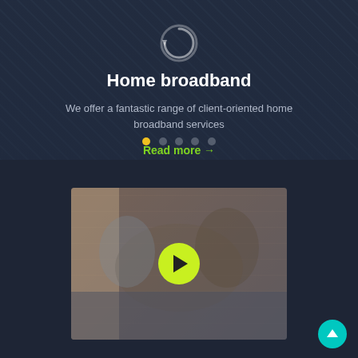[Figure (screenshot): Dark overlay background with circular icon at top center]
Home broadband
We offer a fantastic range of client-oriented home broadband services
Read more →
[Figure (photo): A man and child sitting on a couch looking at a tablet, with a yellow play button overlay indicating a video thumbnail. A back-to-top arrow button is in the bottom right corner.]